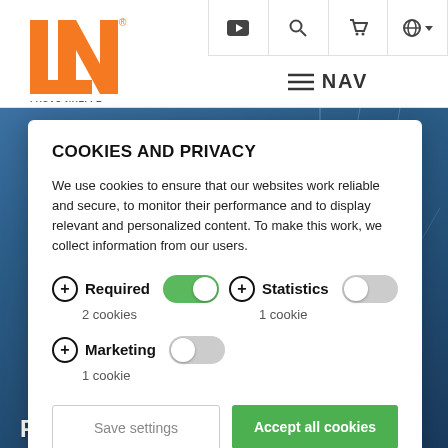[Figure (logo): Lucas-Nuelle company logo, orange LN letters with registered trademark, LUCAS-NUELLE text below]
[Figure (screenshot): Navigation bar with YouTube, search, cart, and globe icons, plus NAV hamburger menu]
COOKIES AND PRIVACY
We use cookies to ensure that our websites work reliable and secure, to monitor their performance and to display relevant and personalized content. To make this work, we collect information from our users.
Required 2 cookies (toggle: ON)
Statistics 1 cookie (toggle: OFF)
Marketing 1 cookie (toggle: OFF)
Save settings
Accept all cookies
POWER ENGINEERING |